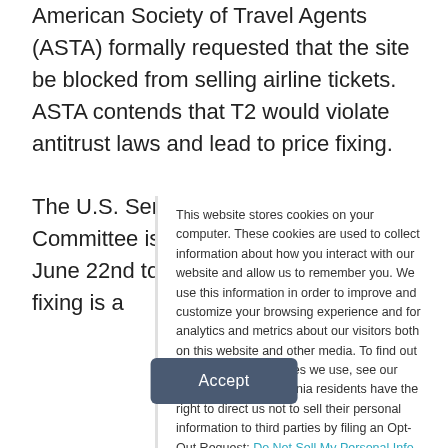American Society of Travel Agents (ASTA) formally requested that the site be blocked from selling airline tickets. ASTA contends that T2 would violate antitrust laws and lead to price fixing.
The U.S. Senate Commerce Committee is set to open hearings June 22nd to determine whether price fixing is a
This website stores cookies on your computer. These cookies are used to collect information about how you interact with our website and allow us to remember you. We use this information in order to improve and customize your browsing experience and for analytics and metrics about our visitors both on this website and other media. To find out more about the cookies we use, see our Privacy Policy. California residents have the right to direct us not to sell their personal information to third parties by filing an Opt-Out Request: Do Not Sell My Personal Info.
Accept